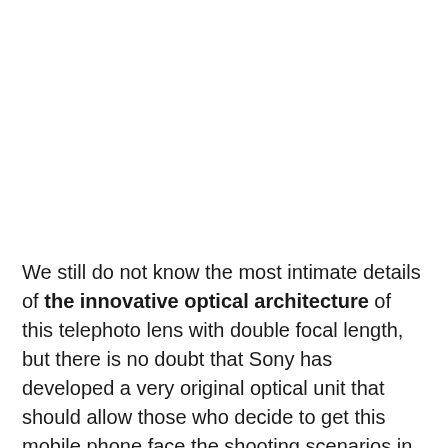We still do not know the most intimate details of the innovative optical architecture of this telephoto lens with double focal length, but there is no doubt that Sony has developed a very original optical unit that should allow those who decide to get this mobile phone face the shooting scenarios in which it is necessary to resort to zoom with a higher probability of success.